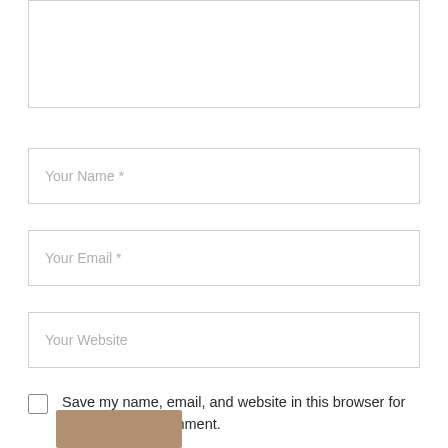[Figure (screenshot): Comment form text area (empty, partially visible at top)]
Your Name *
Your Email *
Your Website
Save my name, email, and website in this browser for the next time I comment.
[Figure (screenshot): Submit button (tan/khaki color, partially visible at bottom)]